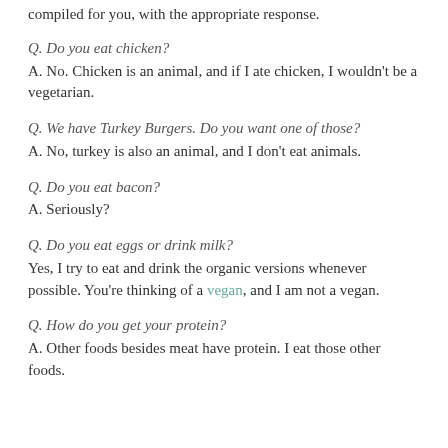compiled for you, with the appropriate response.
Q. Do you eat chicken?
A. No.  Chicken is an animal, and if I ate chicken, I wouldn't be a vegetarian.
Q. We have Turkey Burgers.  Do you want one of those?
A. No, turkey is also an animal, and I don't eat animals.
Q. Do you eat bacon?
A. Seriously?
Q. Do you eat eggs or drink milk?
Yes, I try to eat and drink the organic versions whenever possible.  You're thinking of a vegan, and I am not a vegan.
Q. How do you get your protein?
A. Other foods besides meat have protein.  I eat those other foods.